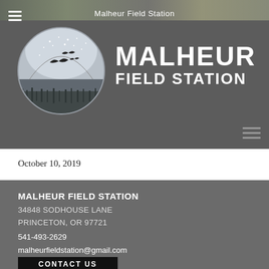[Figure (screenshot): Malheur Field Station website header screenshot showing logo with birds over wetland landscape, large MALHEUR FIELD STATION text, hamburger menu icons, and navigation bar]
October 10, 2019
MALHEUR FIELD STATION
34848 SODHOUSE LANE
PRINCETON, OR 97721
541-493-2629
malheurfieldstation@gmail.com
CONTACT US